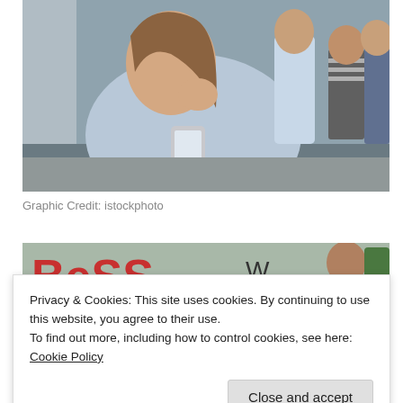[Figure (photo): Teenage girl looking distressed at her phone while group of teens in background look at her]
Graphic Credit: istockphoto
[Figure (photo): Partial view of a colorful image with red letters and a man looking down]
[Figure (photo): Bottom left partial image, colorful illustration]
[Figure (photo): Bottom right partial image, person lying down]
Privacy & Cookies: This site uses cookies. By continuing to use this website, you agree to their use.
To find out more, including how to control cookies, see here: Cookie Policy
Close and accept